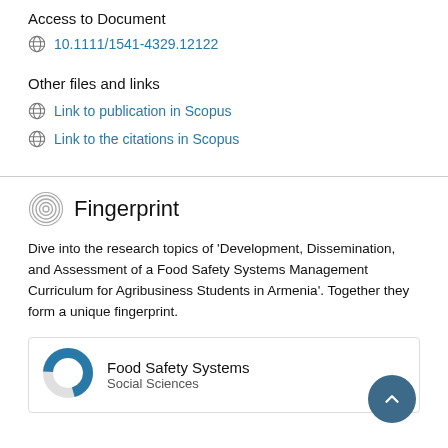Access to Document
10.1111/1541-4329.12122
Other files and links
Link to publication in Scopus
Link to the citations in Scopus
Fingerprint
Dive into the research topics of 'Development, Dissemination, and Assessment of a Food Safety Systems Management Curriculum for Agribusiness Students in Armenia'. Together they form a unique fingerprint.
Food Safety Systems
Social Sciences